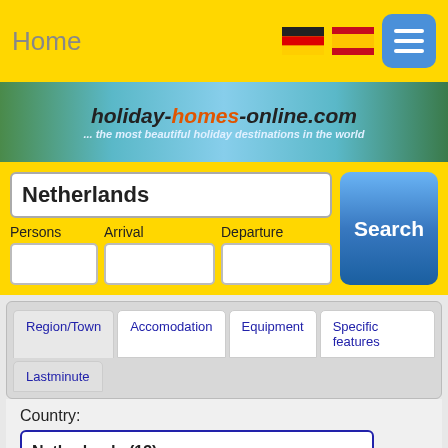Home
[Figure (screenshot): Holiday homes online banner with tropical beach background. Text: holiday-homes-online.com ... the most beautiful holiday destinations in the world]
Netherlands
Persons | Arrival | Departure
Search
Region/Town | Accomodation | Equipment | Specific features | Lastminute
Country:
Netherlands (13)
Federal State:
Select please: